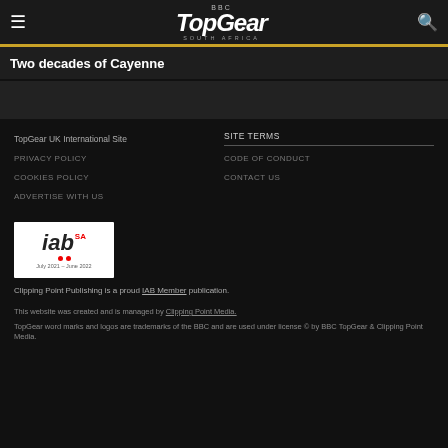BBC TopGear South Africa
Two decades of Cayenne
TopGear UK International Site
SITE TERMS
PRIVACY POLICY
CODE OF CONDUCT
COOKIES POLICY
CONTACT US
ADVERTISE WITH US
[Figure (logo): IAB SA logo with date July 2021 – June 2022]
Clipping Point Publishing is a proud IAB Member publication.
This website was created and is managed by Clipping Point Media.
TopGear word marks and logos are trademarks of the BBC and are used under license © by BBC TopGear & Clipping Point Media.